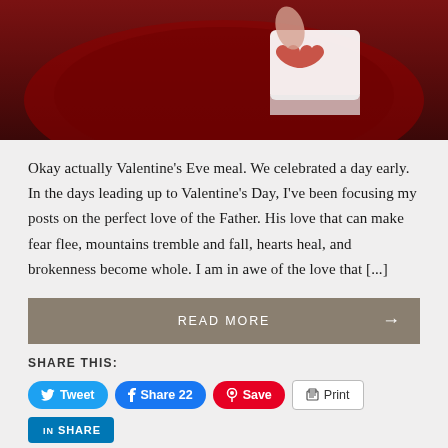[Figure (photo): Top portion of a food photo showing a heart-shaped cookie or cupcake on a dark red plate, white with red decoration]
Okay actually Valentine's Eve meal. We celebrated a day early. In the days leading up to Valentine's Day, I've been focusing my posts on the perfect love of the Father. His love that can make fear flee, mountains tremble and fall, hearts heal, and brokenness become whole. I am in awe of the love that [...]
READ MORE →
SHARE THIS:
Tweet  Share 22  Save  Print  SHARE  Email  Post
LIKE THIS: